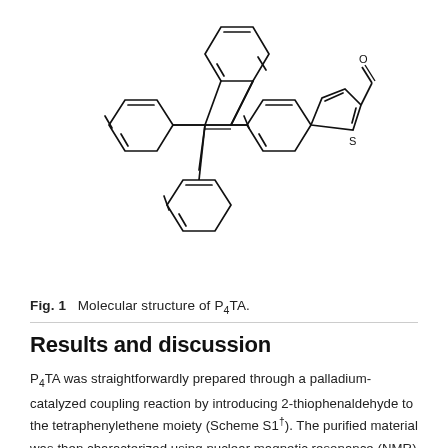[Figure (schematic): Chemical structure drawing of P4TA molecule: a tetraphenylethene core with a 2-thiophenaldehyde substituent. Shows four benzene rings arranged around a central double bond, with one ring connected to a thiophene ring bearing an aldehyde (CHO) group.]
Fig. 1  Molecular structure of P4TA.
Results and discussion
P4TA was straightforwardly prepared through a palladium-catalyzed coupling reaction by introducing 2-thiophenaldehyde to the tetraphenylethene moiety (Scheme S1†). The purified material was then characterized using nuclear magnetic resonance (NMR) spectroscopy and X-ray crystallography. The satisfactory data obtained fully confirmed its expected molecular structure (ESI†). The UV-visible absorption spectrum of P4TA was measured in a